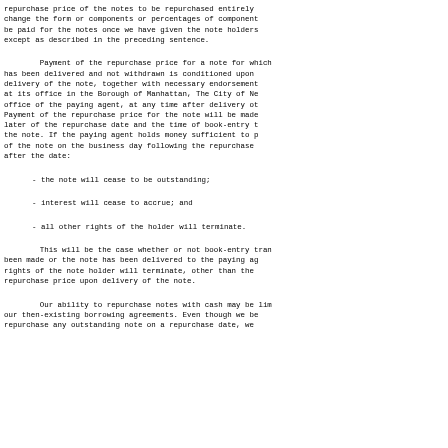repurchase price of the notes to be repurchased entirely change the form or components or percentages of component be paid for the notes once we have given the note holders except as described in the preceding sentence.
Payment of the repurchase price for a note for which has been delivered and not withdrawn is conditioned upon delivery of the note, together with necessary endorsement at its office in the Borough of Manhattan, The City of Ne office of the paying agent, at any time after delivery of Payment of the repurchase price for the note will be made later of the repurchase date and the time of book-entry t the note. If the paying agent holds money sufficient to p of the note on the business day following the repurchase after the date:
- the note will cease to be outstanding;
- interest will cease to accrue; and
- all other rights of the holder will terminate.
This will be the case whether or not book-entry tran been made or the note has been delivered to the paying ag rights of the note holder will terminate, other than the repurchase price upon delivery of the note.
Our ability to repurchase notes with cash may be lim our then-existing borrowing agreements. Even though we be repurchase any outstanding note on a repurchase date, we